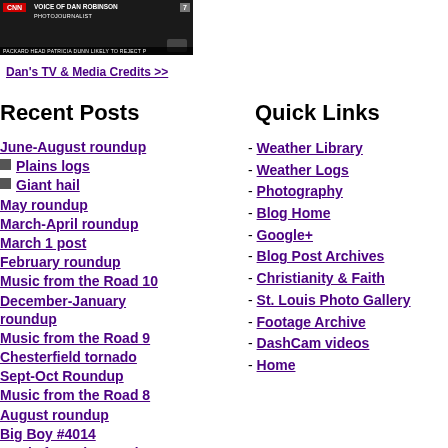[Figure (screenshot): CNN news screenshot showing 'Voice of Dan Robinson Photojournalist' chyron with a ticker at the bottom reading 'PACKARD HEAD PATRICIA DUNN LIKELY TO REJECT P']
Dan's TV & Media Credits >>
Recent Posts
June-August roundup
Plains logs
Giant hail
May roundup
March-April roundup
March 1 post
February roundup
Music from the Road 10
December-January roundup
Music from the Road 9
Chesterfield tornado
Sept-Oct Roundup
Music from the Road 8
August roundup
Big Boy #4014
Music from the Road 7
End of July roundup
Quick Links
- Weather Library
- Weather Logs
- Photography
- Blog Home
- Google+
- Blog Post Archives
- Christianity & Faith
- St. Louis Photo Gallery
- Footage Archive
- DashCam videos
- Home